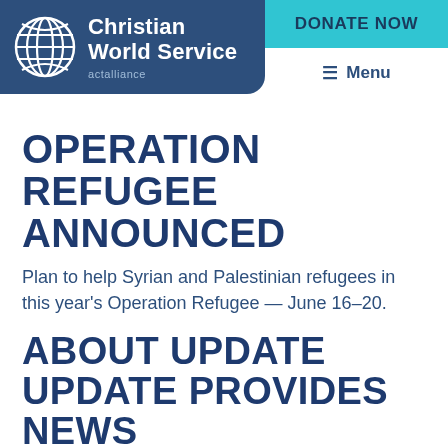[Figure (logo): Christian World Service logo with globe icon and actalliance text on dark blue background]
DONATE NOW
≡ Menu
OPERATION REFUGEE ANNOUNCED
Plan to help Syrian and Palestinian refugees in this year's Operation Refugee — June 16–20.
ABOUT UPDATE UPDATE PROVIDES NEWS